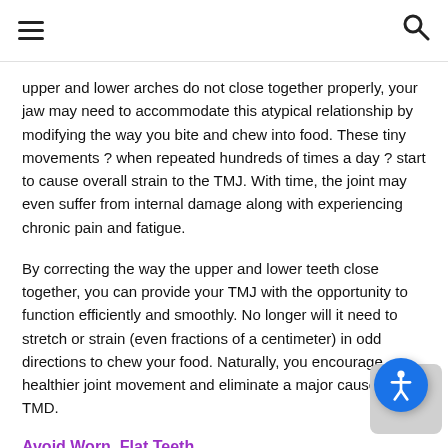≡  🔍
upper and lower arches do not close together properly, your jaw may need to accommodate this atypical relationship by modifying the way you bite and chew into food. These tiny movements ? when repeated hundreds of times a day ? start to cause overall strain to the TMJ. With time, the joint may even suffer from internal damage along with experiencing chronic pain and fatigue.
By correcting the way the upper and lower teeth close together, you can provide your TMJ with the opportunity to function efficiently and smoothly. No longer will it need to stretch or strain (even fractions of a centimeter) in odd directions to chew your food. Naturally, you encourage healthier joint movement and eliminate a major cause of TMD.
Avoid Worn, Flat Teeth
Malocclusion (misaligned biting relationships) cause